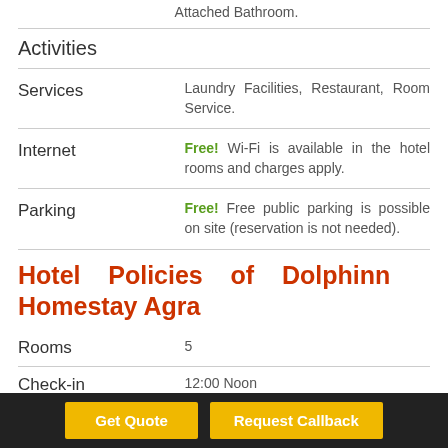Attached Bathroom.
Activities
|  |  |
| --- | --- |
| Services | Laundry Facilities, Restaurant, Room Service. |
| Internet | Free! Wi-Fi is available in the hotel rooms and charges apply. |
| Parking | Free! Free public parking is possible on site (reservation is not needed). |
Hotel Policies of Dolphinn Homestay Agra
|  |  |
| --- | --- |
| Rooms | 5 |
| Check-in | 12:00 Noon |
| Check-out |  |